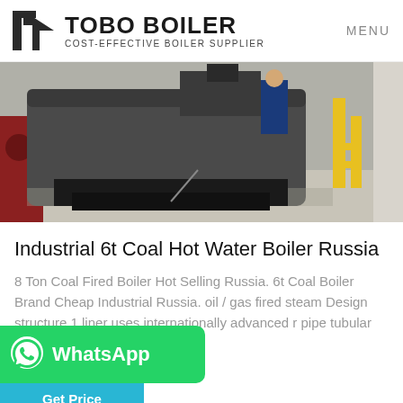TOBO BOILER COST-EFFECTIVE BOILER SUPPLIER | MENU
[Figure (photo): Industrial boiler equipment installation outdoors, showing large metal cylindrical boilers, a worker in blue, and yellow gas pipes against a concrete floor and wall.]
Industrial 6t Coal Hot Water Boiler Russia
8 Ton Coal Fired Boiler Hot Selling Russia. 6t Coal Boiler Brand Cheap Industrial Russia. oil / gas fired steam Design structure 1 liner uses internationally advanced r pipe tubular structure 2The ste…